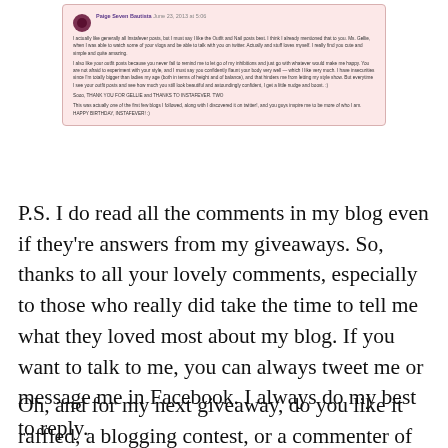[Figure (screenshot): A blog comment screenshot with pink background. Commenter name highlighted in purple, small avatar icon, multiple paragraphs of small text discussing blog posts, style encouragement, and birthday wishes.]
P.S. I do read all the comments in my blog even if they're answers from my giveaways. So, thanks to all your lovely comments, especially to those who really did take the time to tell me what they loved most about my blog. If you want to talk to me, you can always tweet me or message me in Facebook. I always do my best to reply.
Oh, and for my next giveaway, do you like it raffled, a blogging contest, or a commenter of the month thing? Suggestions below, guys. Thanks a bunch! :)